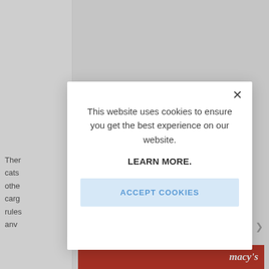[Figure (screenshot): Website background showing partial text content partially obscured by modal overlay, with a Macy's advertisement strip at the bottom]
Ther
cats
othe
carg
rules
anv
This website uses cookies to ensure you get the best experience on our website.
LEARN MORE.
ACCEPT COOKIES